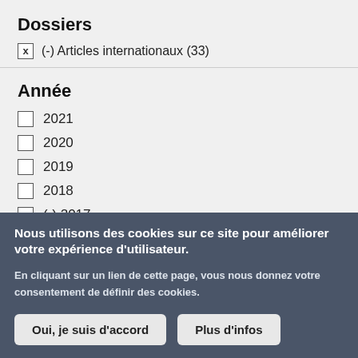Dossiers
x (-) Articles internationaux (33)
Année
2021
2020
2019
2018
x (-) 2017
Nous utilisons des cookies sur ce site pour améliorer votre expérience d'utilisateur.
En cliquant sur un lien de cette page, vous nous donnez votre consentement de définir des cookies.
Oui, je suis d'accord
Plus d'infos